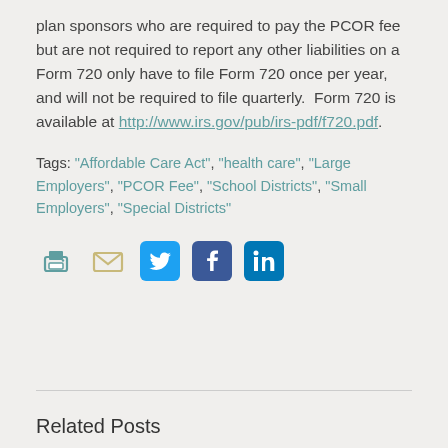plan sponsors who are required to pay the PCOR fee but are not required to report any other liabilities on a Form 720 only have to file Form 720 once per year, and will not be required to file quarterly.  Form 720 is available at http://www.irs.gov/pub/irs-pdf/f720.pdf.
Tags: "Affordable Care Act", "health care", "Large Employers", "PCOR Fee", "School Districts", "Small Employers", "Special Districts"
[Figure (infographic): Social sharing icons: print (teal printer), email (tan envelope), Twitter (blue bird), Facebook (dark blue f), LinkedIn (dark blue in)]
Related Posts